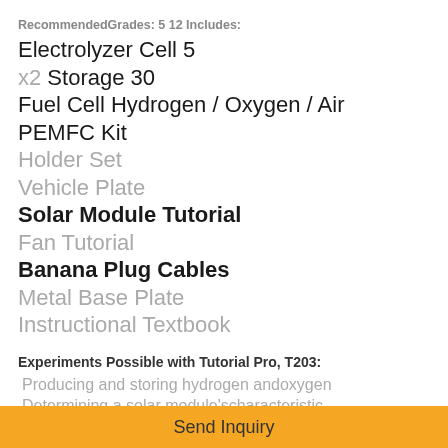RecommendedGrades: 5 12 Includes:
Electrolyzer Cell 5
x2 Storage 30
Fuel Cell Hydrogen / Oxygen / Air PEMFC Kit
Holder Set
Vehicle Plate
Solar Module Tutorial
Fan Tutorial
Banana Plug Cables
Metal Base Plate
Instructional Textbook
Experiments Possible with Tutorial Pro, T203:
Producing and storing hydrogen andoxygen
Determining a solar module'scharacteristic curves
Hydrogen / Oxygen or Hydrogen / Air fuelcell operation
Determining characteristic curve ofelectrolyser
Send Inquiry